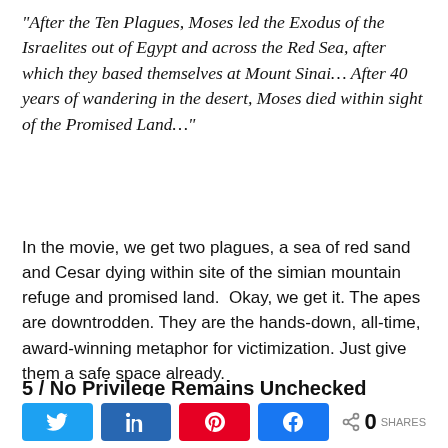“After the Ten Plagues, Moses led the Exodus of the Israelites out of Egypt and across the Red Sea, after which they based themselves at Mount Sinai… After 40 years of wandering in the desert, Moses died within sight of the Promised Land…”
In the movie, we get two plagues, a sea of red sand and Cesar dying within site of the simian mountain refuge and promised land.  Okay, we get it. The apes are downtrodden. They are the hands-down, all-time, award-winning metaphor for victimization. Just give them a safe space already.
5 / No Privilege Remains Unchecked
[Figure (other): Social share bar with Twitter, LinkedIn, Pinterest, Facebook buttons and a share count showing 0 SHARES]